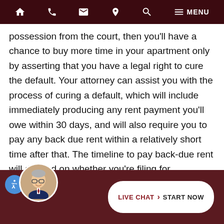Navigation bar with home, phone, email, location, search, and menu icons
possession from the court, then you'll have a chance to buy more time in your apartment only by asserting that you have a legal right to cure the default. Your attorney can assist you with the process of curing a default, which will include immediately producing any rent payment you'll owe within 30 days, and will also require you to pay any back due rent within a relatively short time after that. The timeline to pay back-due rent will depend on whether you're filing for bankruptcy under Chapter 7 or Chapter 13.
If your landlord has not yet initiated court proceedings to evict you, bankruptcy's automatic stay provis... b... ...ed in
LIVE CHAT > START NOW